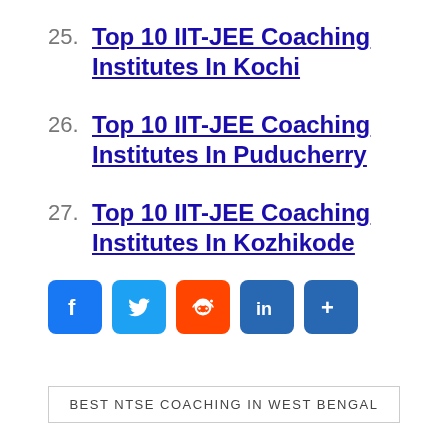25. Top 10 IIT-JEE Coaching Institutes In Kochi
26. Top 10 IIT-JEE Coaching Institutes In Puducherry
27. Top 10 IIT-JEE Coaching Institutes In Kozhikode
[Figure (infographic): Social share buttons: Facebook, Twitter, Reddit, LinkedIn, More]
BEST NTSE COACHING IN WEST BENGAL